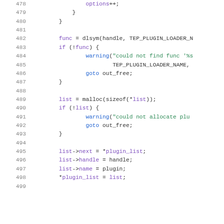Source code listing, lines 478-499, C language
478: options++;
479: }
480: }
481:
482: func = dlsym(handle, TEP_PLUGIN_LOADER_
483: if (!func) {
484: warning("could not find func '%s
485: TEP_PLUGIN_LOADER_NAME,
486: goto out_free;
487: }
488:
489: list = malloc(sizeof(*list));
490: if (!list) {
491: warning("could not allocate plu
492: goto out_free;
493: }
494:
495: list->next = *plugin_list;
496: list->handle = handle;
497: list->name = plugin;
498: *plugin_list = list;
499: